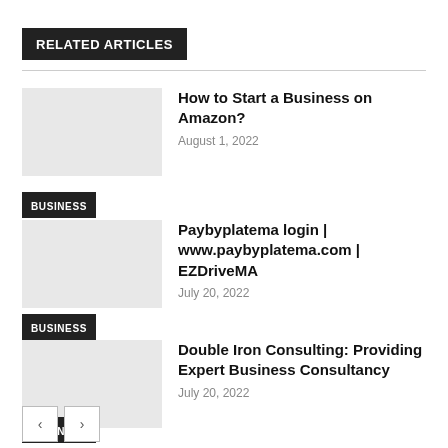RELATED ARTICLES
How to Start a Business on Amazon?
August 1, 2022
BUSINESS
Paybyplatema login | www.paybyplatema.com | EZDriveMA
July 20, 2022
BUSINESS
Double Iron Consulting: Providing Expert Business Consultancy
July 20, 2022
BUSINESS